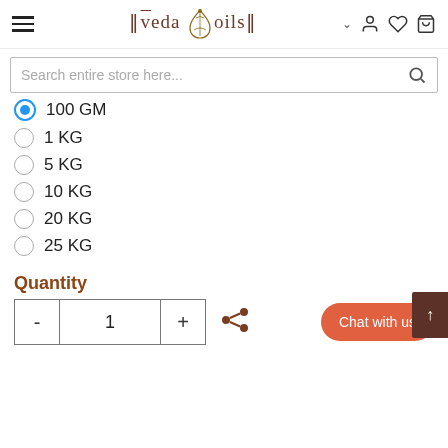VedaOils navigation header with hamburger menu, logo, and icons
Search entire store here...
100 GM (selected)
1 KG
5 KG
10 KG
20 KG
25 KG
Quantity
- 1 + [share icon] [Chat with us button]